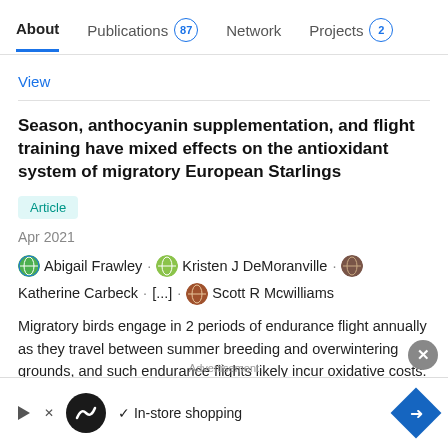About  Publications 87  Network  Projects 2
View
Season, anthocyanin supplementation, and flight training have mixed effects on the antioxidant system of migratory European Starlings
Article
Apr 2021
Abigail Frawley · Kristen J DeMoranville · Katherine Carbeck · [...] · Scott R Mcwilliams
Migratory birds engage in 2 periods of endurance flight annually as they travel between summer breeding and overwintering grounds, and such endurance flights likely incur oxidative costs. These costs may differ between fall and spring migration, especially for females who must prepare for breeding and egg laying in spring. The objective of this stu...